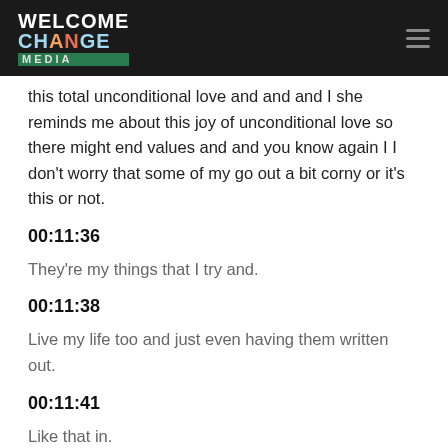Welcome Change Media
this total unconditional love and and and I she reminds me about this joy of unconditional love so there might end values and and you know again I I don't worry that some of my go out a bit corny or it's this or not.
00:11:36
They're my things that I try and.
00:11:38
Live my life too and just even having them written out.
00:11:41
Like that in.
00:11:42